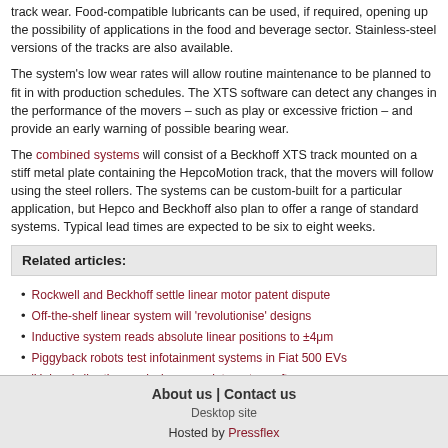track wear. Food-compatible lubricants can be used, if required, opening up the possibility of applications in the food and beverage sector. Stainless-steel versions of the tracks are also available.
The system's low wear rates will allow routine maintenance to be planned to fit in with production schedules. The XTS software can detect any changes in the performance of the movers – such as play or excessive friction – and provide an early warning of possible bearing wear.
The combined systems will consist of a Beckhoff XTS track mounted on a stiff metal plate containing the HepcoMotion track, that the movers will follow using the steel rollers. The systems can be custom-built for a particular application, but Hepco and Beckhoff also plan to offer a range of standard systems. Typical lead times are expected to be six to eight weeks.
Related articles:
Rockwell and Beckhoff settle linear motor patent dispute
Off-the-shelf linear system will 'revolutionise' designs
Inductive system reads absolute linear positions to ±4μm
Piggyback robots test infotainment systems in Fiat 500 EVs
'Unique' vibration analysis sensor integrates software
About us | Contact us  Desktop site  Hosted by Pressflex